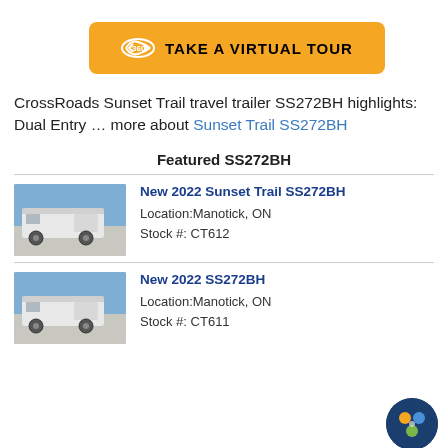[Figure (other): Orange button with 360-degree icon and text TAKE A VIRTUAL TOUR]
CrossRoads Sunset Trail travel trailer SS272BH highlights: Dual Entry … more about Sunset Trail SS272BH
Featured SS272BH
[Figure (photo): Photo of a white travel trailer (New 2022 Sunset Trail SS272BH) in a parking lot]
New 2022 Sunset Trail SS272BH
Location:Manotick, ON
Stock #: CT612
[Figure (photo): Photo of a white travel trailer (New 2022 SS272BH) in a parking lot]
New 2022 SS272BH
Location:Manotick, ON
Stock #: CT611